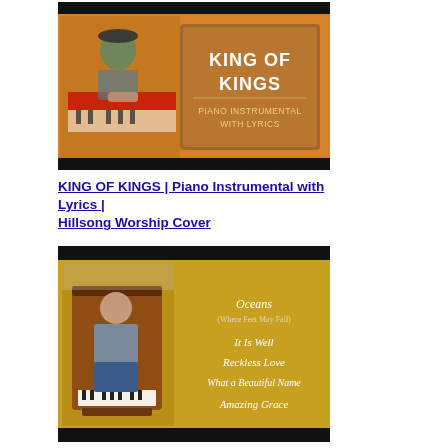[Figure (photo): Thumbnail image of a person playing a piano keyboard. Orange background with text 'KING OF KINGS' and 'PIANO INSTRUMENTAL WITH LYRICS' in a brown/tan box on the right side.]
KING OF KINGS | Piano Instrumental with Lyrics | Hillsong Worship Cover
[Figure (photo): Thumbnail image of a bald person playing an upright piano. Golden/yellow background with text listing: Oceans (Where Feet May Fail), It Is Well, Reckless Love, What a Beautiful Name, Amazing Grace. Black bars at top and bottom.]